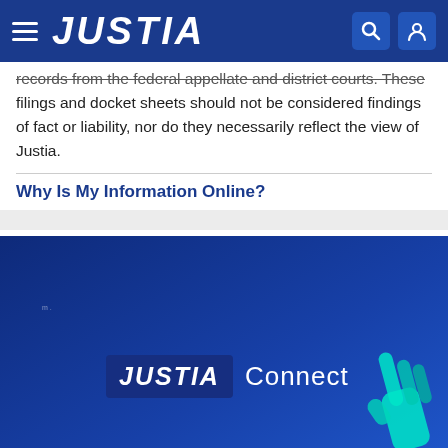JUSTIA
records from the federal appellate and district courts. These filings and docket sheets should not be considered findings of fact or liability, nor do they necessarily reflect the view of Justia.
Why Is My Information Online?
PREV 1 2 3 4 5 6 ... NEXT
[Figure (screenshot): JUSTIA Connect branding on dark blue background with a hand/pointer graphic]
JUSTIA Connect